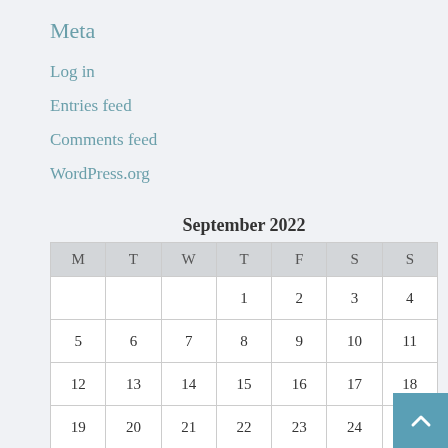Meta
Log in
Entries feed
Comments feed
WordPress.org
| M | T | W | T | F | S | S |
| --- | --- | --- | --- | --- | --- | --- |
|  |  |  | 1 | 2 | 3 | 4 |
| 5 | 6 | 7 | 8 | 9 | 10 | 11 |
| 12 | 13 | 14 | 15 | 16 | 17 | 18 |
| 19 | 20 | 21 | 22 | 23 | 24 | 25 |
| 26 | 27 | 28 | 29 | 30 |  |  |